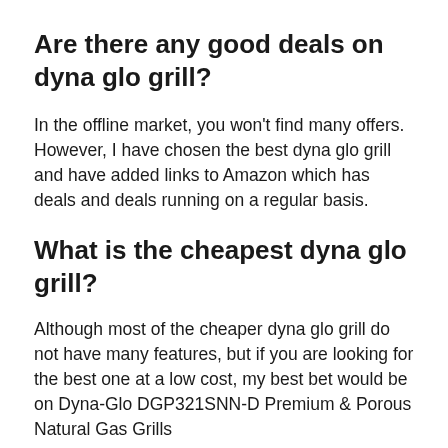Are there any good deals on dyna glo grill?
In the offline market, you won't find many offers. However, I have chosen the best dyna glo grill and have added links to Amazon which has deals and deals running on a regular basis.
What is the cheapest dyna glo grill?
Although most of the cheaper dyna glo grill do not have many features, but if you are looking for the best one at a low cost, my best bet would be on Dyna-Glo DGP321SNN-D Premium & Porous Natural Gas Grills